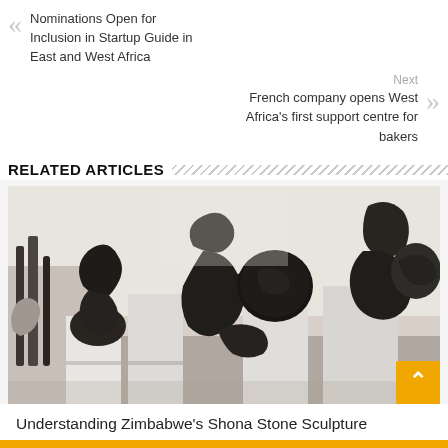Nominations Open for Inclusion in Startup Guide in East and West Africa
Next
French company opens West Africa's first support centre for bakers
RELATED ARTICLES
[Figure (photo): Indoor sculpture exhibition displaying multiple black Shona stone sculptures on white pedestals in a gallery setting]
Understanding Zimbabwe's Shona Stone Sculpture